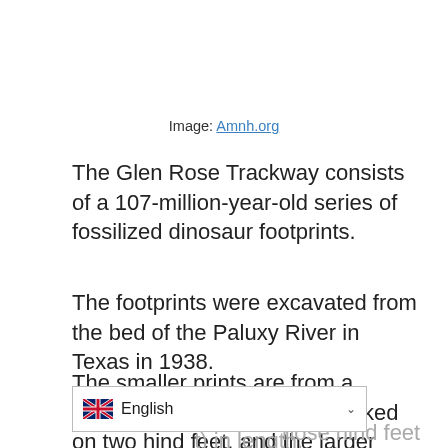Image: Amnh.org
The Glen Rose Trackway consists of a 107-million-year-old series of fossilized dinosaur footprints.
The footprints were excavated from the bed of the Paluxy River in Texas in 1938.
The smaller prints are from a Theropod, a dinosaur that walked on two hind feet, and the larger prints are thought to be from a [dinosaur] whose hind feet [measured about 3 f]t) in length.
[Figure (other): Language selector bar showing UK flag and 'English' label with dropdown chevron]